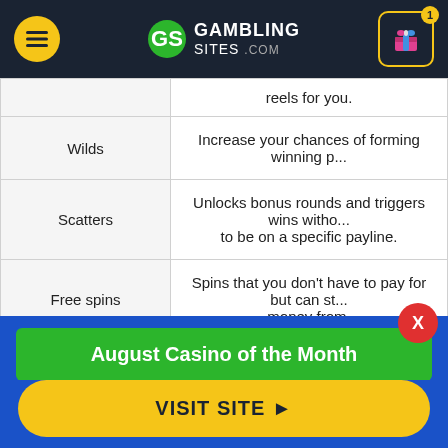GamblinSites.com
| Feature | Description |
| --- | --- |
|  | reels for you. |
| Wilds | Increase your chances of forming winning p... |
| Scatters | Unlocks bonus rounds and triggers wins witho... to be on a specific payline. |
| Free spins | Spins that you don't have to pay for but can st... money from. |
August Casino of the Month
Welcome Bonus
250% up to $5,000
VISIT SITE ▶